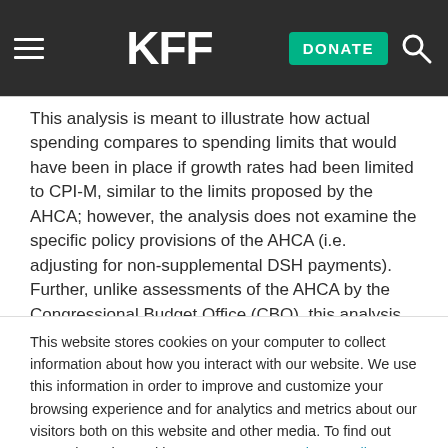KFF | DONATE
This analysis is meant to illustrate how actual spending compares to spending limits that would have been in place if growth rates had been limited to CPI-M, similar to the limits proposed by the AHCA; however, the analysis does not examine the specific policy provisions of the AHCA (i.e. adjusting for non-supplemental DSH payments). Further, unlike assessments of the AHCA by the Congressional Budget Office (CBO), this analysis does not project future
This website stores cookies on your computer to collect information about how you interact with our website. We use this information in order to improve and customize your browsing experience and for analytics and metrics about our visitors both on this website and other media. To find out more about the cookies we use, see our Privacy Policy.